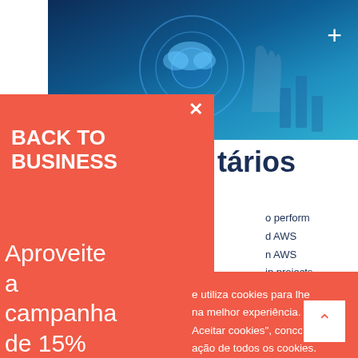[Figure (photo): Background technology photo with blue/dark digital interface showing cloud and hand touching holographic display]
BACK TO BUSINESS
Aproveite a campanha de 15% de desconto neste curso até 15
tários
to perform d AWS n AWS in projects ds to the AWS anical ation's cloud
e utiliza cookies para lhe na melhor experiência. Ao Aceitar cookies", concorda ação de todos os cookies. pode visitar "Gerir cookies" er um consentimento
Aceitar cookies